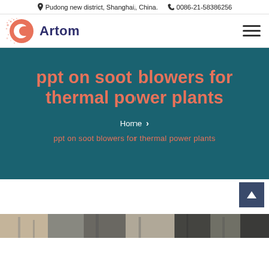Pudong new district, Shanghai, China.  0086-21-58386256
[Figure (logo): Artom company logo with red circular C icon and dark blue 'Artom' text]
ppt on soot blowers for thermal power plants
Home > ppt on soot blowers for thermal power plants
[Figure (photo): Partial image strip at bottom showing industrial equipment in grayscale/sepia tones]